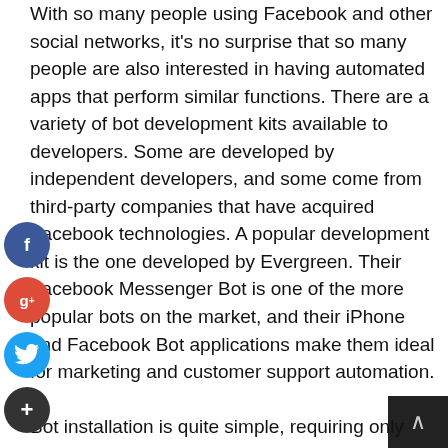With so many people using Facebook and other social networks, it's no surprise that so many people are also interested in having automated apps that perform similar functions. There are a variety of bot development kits available to developers. Some are developed by independent developers, and some come from third-party companies that have acquired Facebook technologies. A popular development kit is the one developed by Evergreen. Their Facebook Messenger Bot is one of the more popular bots on the market, and their iPhone and Facebook Bot applications make them ideal for marketing and customer support automation.

Bot installation is quite simple, requiring only that you accept the terms of service of Facebook before installation. The Facebook Messenger Bot makes it easy for your customers to contact you via email, whether they are using the web or the app. You can also set up you for automatic posting of new messages, so your